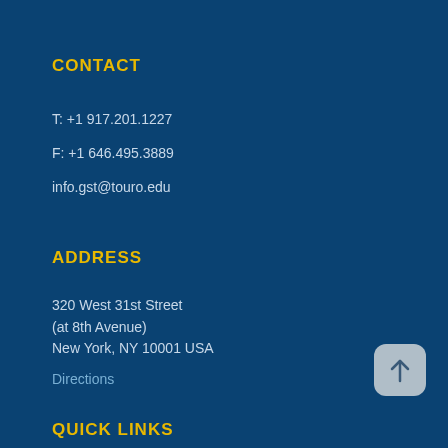CONTACT
T: +1 917.201.1227
F: +1 646.495.3889
info.gst@touro.edu
ADDRESS
320 West 31st Street
(at 8th Avenue)
New York, NY 10001 USA
Directions
QUICK LINKS